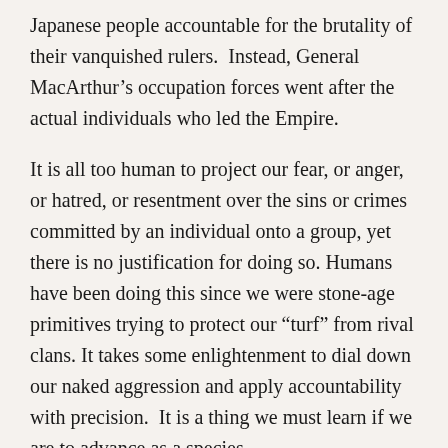Japanese people accountable for the brutality of their vanquished rulers.  Instead, General MacArthur’s occupation forces went after the actual individuals who led the Empire.
It is all too human to project our fear, or anger, or hatred, or resentment over the sins or crimes committed by an individual onto a group, yet there is no justification for doing so. Humans have been doing this since we were stone-age primitives trying to protect our “turf” from rival clans. It takes some enlightenment to dial down our naked aggression and apply accountability with precision.  It is a thing we must learn if we are to advance as a species.